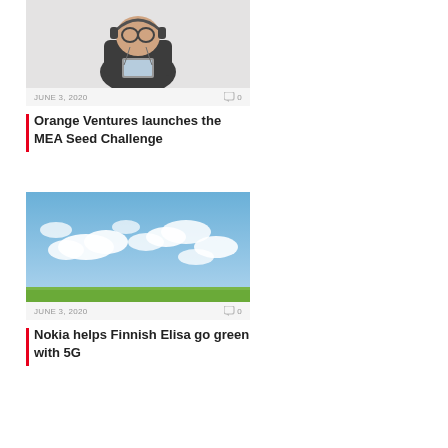[Figure (photo): Child wearing glasses and headphones holding a tablet device, against a white brick wall background]
JUNE 3, 2020   ⌨0
Orange Ventures launches the MEA Seed Challenge
[Figure (photo): Sky with white clouds over a green field landscape]
JUNE 3, 2020   ⌨0
Nokia helps Finnish Elisa go green with 5G